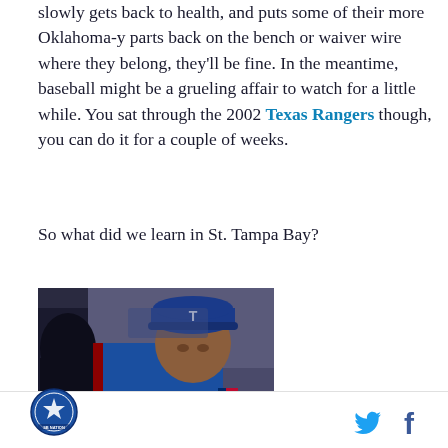slowly gets back to health, and puts some of their more Oklahoma-y parts back on the bench or waiver wire where they belong, they'll be fine. In the meantime, baseball might be a grueling affair to watch for a little while. You sat through the 2002 Texas Rangers though, you can do it for a couple of weeks.
So what did we learn in St. Tampa Bay?
[Figure (photo): A Texas Rangers baseball player wearing a blue Rangers jersey and 'T' cap, looking downward, possibly in a dugout or stadium setting.]
SB Nation logo | Twitter icon | Facebook icon